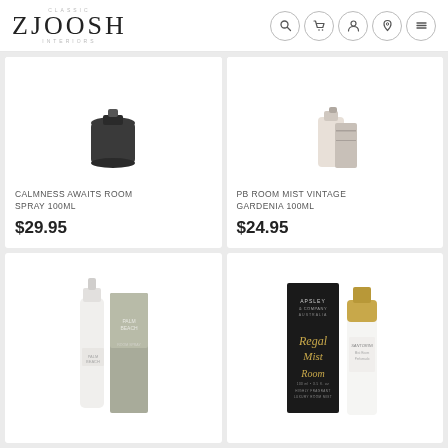ZJOOSH
[Figure (photo): Product card: Calmness Awaits Room Spray 100ml - dark candle/spray jar image, white card]
CALMNESS AWAITS ROOM SPRAY 100ML
$29.95
[Figure (photo): Product card: PB Room Mist Vintage Gardenia 100ml - beige/cream spray bottle, white card]
PB ROOM MIST VINTAGE GARDENIA 100ML
$24.95
[Figure (photo): Product card: Palm Beach room spray bottle with sage green box packaging]
[Figure (photo): Product card: Apsley & Company Royal Mist room spray with black box and white bottle with gold cap]